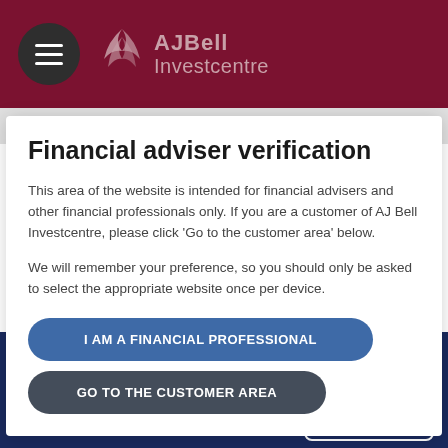[Figure (logo): AJ Bell Investcentre logo on dark red header background with hamburger menu icon]
more. A month ago, markets were putting a 50%-plus chance on a
Financial adviser verification
This area of the website is intended for financial advisers and other financial professionals only. If you are a customer of AJ Bell Investcentre, please click ‘Go to the customer area’ below.
We will remember your preference, so you should only be asked to select the appropriate website once per device.
I AM A FINANCIAL PROFESSIONAL
GO TO THE CUSTOMER AREA
Cookies and privacy
We use cookies to improve your experience on our website. By continuing to browse the site you are
ACCEPT
VIEW COOKIE